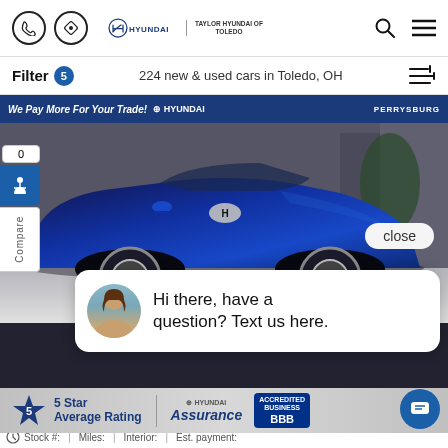Hyundai | Taylor Hyundai of Toledo — Phone, Navigation, Search, Menu icons
Filter 5 | 224 new & used cars in Toledo, OH
[Figure (photo): Blue 2023 Hyundai Elantra Hybrid Limited in dealership showroom, with compare sidebar, close button, and chat popup overlay saying 'Hi there, have a question? Text us here.']
[Figure (infographic): 5 Star Average Rating badge with Hyundai Assurance logo and BBB Accredited Business badge]
2023 Hyundai Elantra Hybrid Limited
$35,025
Stock #: | Miles: | Interior: | Est. payment: